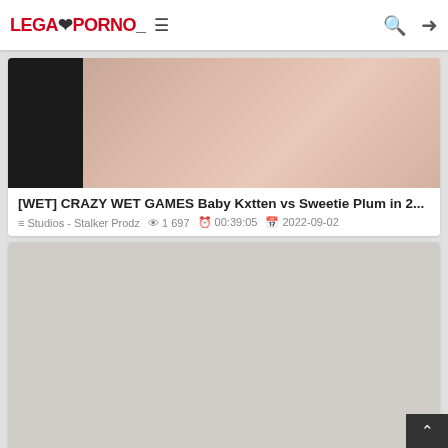LEGALPORNO — navigation header with search and login icons
[Figure (screenshot): Thumbnail image for first video card showing a partial close-up, partially obscured by dark left sidebar area]
[WET] CRAZY WET GAMES Baby Kxtten vs Sweetie Plum in 2...
Studios - Stalker Prodz  1 697  00:39:05  2022-09-02
[Figure (photo): Blank/loading thumbnail for second video card with light gray background]
[DRY] CRAZY ANAL GAMES Baby Kitten vs Sweetie Plum in 2...
Studios - Stalker Prodz  1 544  00:36:07  2022-09-